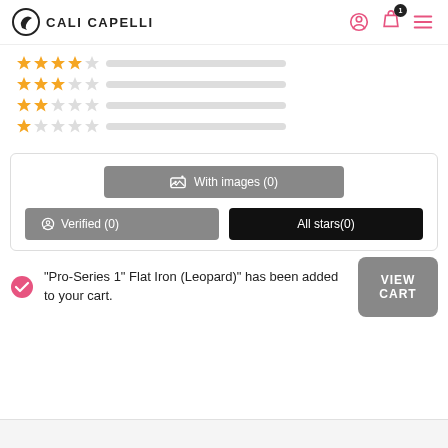CALI CAPELLI
[Figure (infographic): Star rating bars: 4-star row, 3-star row, 2.5-star row, 1-star row, each with a gray progress bar]
[Figure (screenshot): Filter buttons: 'With images (0)', 'Verified (0)', 'All stars(0)']
"Pro-Series 1" Flat Iron (Leopard)" has been added to your cart.